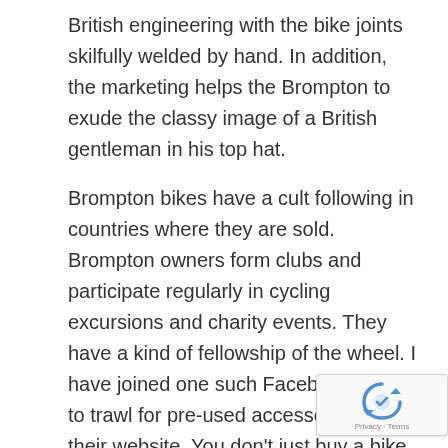British engineering with the bike joints skilfully welded by hand. In addition, the marketing helps the Brompton to exude the classy image of a British gentleman in his top hat.
Brompton bikes have a cult following in countries where they are sold. Brompton owners form clubs and participate regularly in cycling excursions and charity events. They have a kind of fellowship of the wheel. I have joined one such Facebook club, to trawl for pre-used accessories on their website. You don't just buy a bike you buy an image, a fellowship and a good and highly portable ride.
The Brompton bicycle is like a good